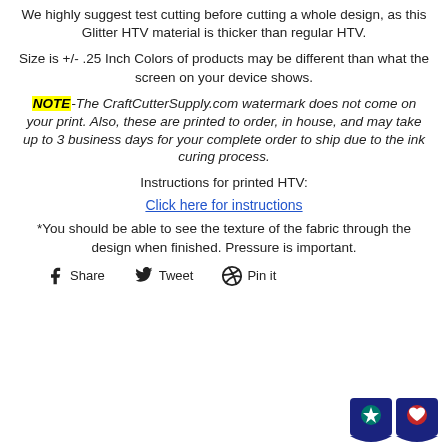We highly suggest test cutting before cutting a whole design, as this Glitter HTV material is thicker than regular HTV.
Size is +/- .25 Inch Colors of products may be different than what the screen on your device shows.
NOTE-The CraftCutterSupply.com watermark does not come on your print. Also, these are printed to order, in house, and may take up to 3 business days for your complete order to ship due to the ink curing process.
Instructions for printed HTV:
Click here for instructions
*You should be able to see the texture of the fabric through the design when finished. Pressure is important.
Share   Tweet   Pin it